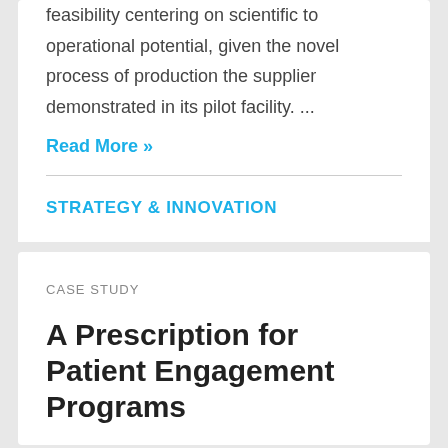feasibility centering on scientific to operational potential, given the novel process of production the supplier demonstrated in its pilot facility. ...
Read More »
STRATEGY & INNOVATION
CASE STUDY
A Prescription for Patient Engagement Programs